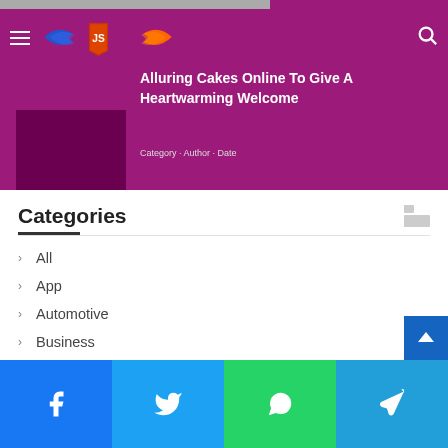iPolitics360.com website header with logo and navigation
Alluring Cakes Online To Give A Heartwarming Welcome
Categories
All
App
Automotive
Business
Digital Marketing
Education
Entertainment
Social share buttons: Facebook, Twitter, WhatsApp, Telegram